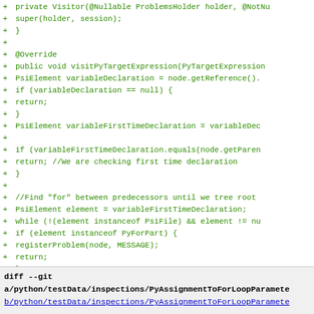[Figure (screenshot): Code diff screenshot showing added Java code lines (green) for a Visitor class with visitPyTargetExpression method and logic for checking variable declarations and for-loop parameters.]
diff --git a/python/testData/inspections/PyAssignmentToForLoopParameter b/python/testData/inspections/PyAssignmentToForLoopParameter